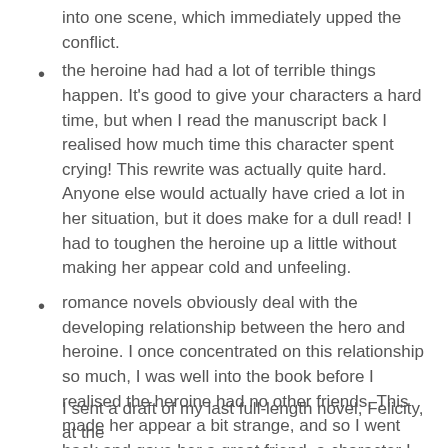into one scene, which immediately upped the conflict.
the heroine had had a lot of terrible things happen. It’s good to give your characters a hard time, but when I read the manuscript back I realised how much time this character spent crying! This rewrite was actually quite hard. Anyone else would actually have cried a lot in her situation, but it does make for a dull read! I had to toughen the heroine up a little without making her appear cold and unfeeling.
romance novels obviously deal with the developing relationship between the hero and heroine. I once concentrated on this relationship so much, I was well into the book before I realised the heroine had no other friends. This made her appear a bit strange, and so I went back and gave her a great friend, a character I grew to love in her own right.
I sent a draft of my last full-length novel, Felicity, at the